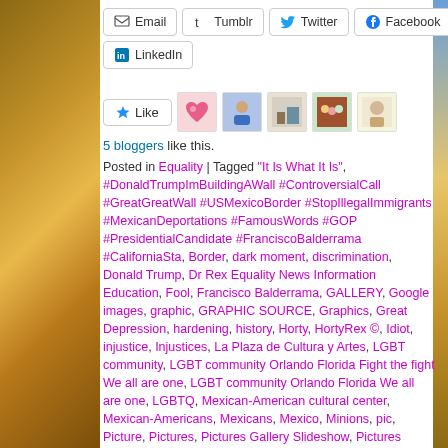[Figure (infographic): Social share buttons: Email, Tumblr, Twitter, Facebook, LinkedIn]
[Figure (infographic): Like button with 5 blogger avatars]
5 bloggers like this.
Posted in Equality | Tagged "It Is What It Is", #DonaldTrumpImBuildingAWall #ControversialCall #GreatGreatWall #USMexicoBorder #StopIllegalImmigrants #MexicanDeportations #FamousWords #GOP #PresidentialCandidate #FranciscoBalderrama #CaliforniaSta, Border, dark moment, discrimination, Donald Trump, Dr Rex Equality News Information Education, Fool, Francisco Balderrama, GALLERY, Google images, graphic, GRAPHIC SOURCE, Graphics, Great Depression, hardening, history, Horty, HortyRex ©, Idiot, injustice, Injustices, La Plaza de Cultura y Artes, LGBT community, LGBT community Orlando Florida Fight the fight We all are one, LGBT community Orlando Florida We all are one, LGBTQ, Mexican-American cultural center, Mexican-Americans, Mexicans, Mexico, Minions, pic, Picture, Pictures, Pictures Gallery Slideshow, Pictures Graphics, Placita Olvera, political, politicians, Politics, Presidential Campaign, Presidential Candidate, repeats